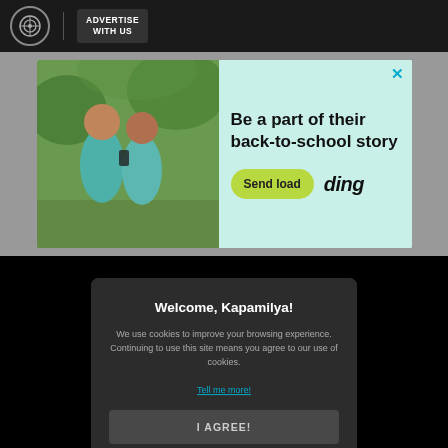ADVERTISE WITH US
[Figure (photo): Advertisement banner: two school girls looking at a phone, with 'Be a part of their back-to-school story' text, Send load button, and ding logo]
Welcome, Kapamilya!
We use cookies to improve your browsing experience. Continuing to use this site means you agree to our use of cookies.
Tell me more!
I AGREE!